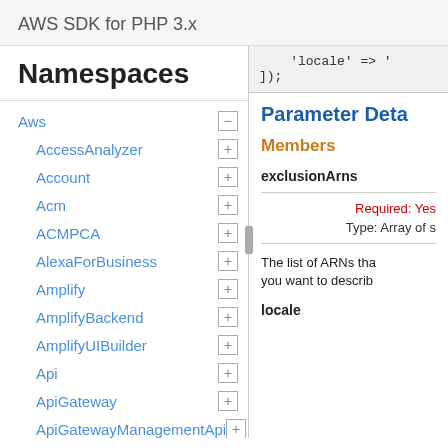AWS SDK for PHP 3.x
Namespaces
Aws
AccessAnalyzer
Account
Acm
ACMPCA
AlexaForBusiness
Amplify
AmplifyBackend
AmplifyUIBuilder
Api
ApiGateway
ApiGatewayManagementApi
'locale' => '
]);
Parameter Deta
Members
exclusionArns
Required: Yes
Type: Array of s
The list of ARNs tha you want to describ
locale